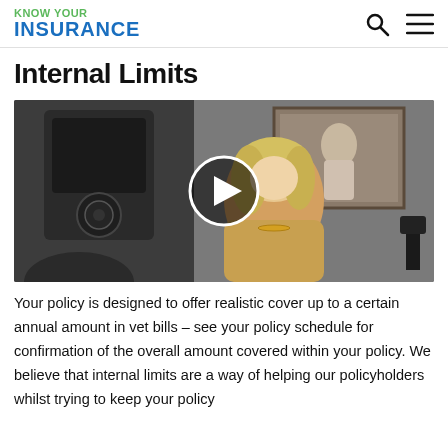KNOW YOUR INSURANCE
Internal Limits
[Figure (screenshot): Video thumbnail showing a woman with blonde hair in a beige coat, with a large speaker/PA system visible in the background and a painting on the wall. A circular play button overlay is centered on the video.]
Your policy is designed to offer realistic cover up to a certain annual amount in vet bills – see your policy schedule for confirmation of the overall amount covered within your policy. We believe that internal limits are a way of helping our policyholders whilst trying to keep your policy